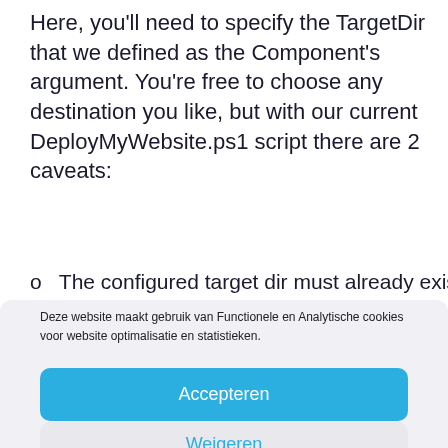Here, you'll need to specify the TargetDir that we defined as the Component's argument. You're free to choose any destination you like, but with our current DeployMyWebsite.ps1 script there are 2 caveats:
o  The configured target dir must already exist on the
Deze website maakt gebruik van Functionele en Analytische cookies voor website optimalisatie en statistieken.
Accepteren
Weigeren
Voorkeuren
Cookiebeleid  Privacyverklaring